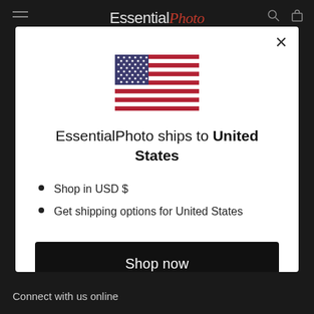EssentialPhoto
[Figure (illustration): US flag emoji/illustration centered in modal]
EssentialPhoto ships to United States
Shop in USD $
Get shipping options for United States
Shop now
Change shipping country
Connect with us online